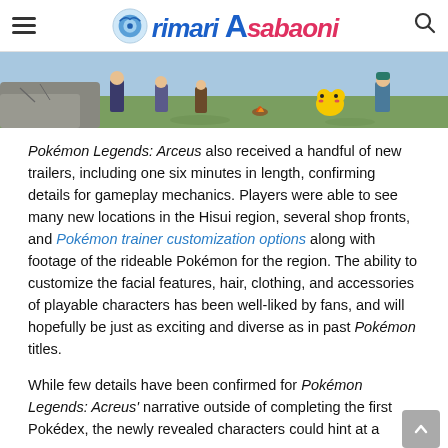rimari Asabaoni
[Figure (screenshot): Partial screenshot of a Pokémon Legends: Arceus game scene showing characters and Pikachu in a field environment]
Pokémon Legends: Arceus also received a handful of new trailers, including one six minutes in length, confirming details for gameplay mechanics. Players were able to see many new locations in the Hisui region, several shop fronts, and Pokémon trainer customization options along with footage of the rideable Pokémon for the region. The ability to customize the facial features, hair, clothing, and accessories of playable characters has been well-liked by fans, and will hopefully be just as exciting and diverse as in past Pokémon titles.
While few details have been confirmed for Pokémon Legends: Acreus' narrative outside of completing the first Pokédex, the newly revealed characters could hint at a